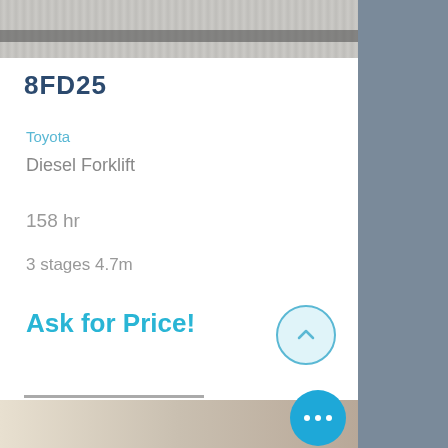[Figure (photo): Top partial photo of gravel/road surface with a dark rail or bar]
8FD25
Toyota
Diesel Forklift
158 hr
3 stages 4.7m
Ask for Price!
[Figure (photo): Bottom partial photo of industrial/warehouse building exterior]